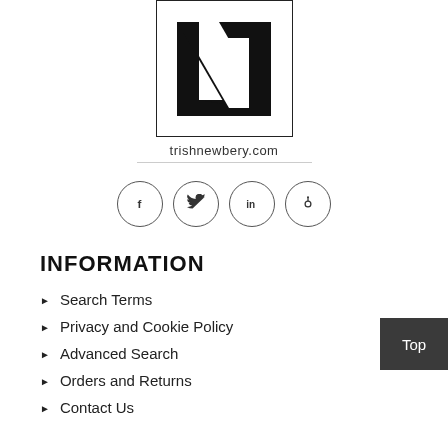[Figure (logo): Square logo with stylized letter N in black and white, bordered by a thin black rectangle]
trishnewbery.com
[Figure (infographic): Four circular social media icon buttons: Facebook (f), Twitter (bird), LinkedIn (in), Pinterest (p)]
INFORMATION
Search Terms
Privacy and Cookie Policy
Advanced Search
Orders and Returns
Contact Us